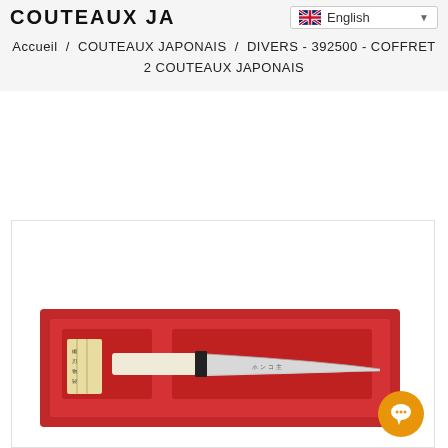COUTEAUX JA
English
Accueil / COUTEAUX JAPONAIS / DIVERS - 392500 - COFFRET 2 COUTEAUX JAPONAIS
[Figure (photo): A Japanese knife set in a red gift box, showing a santoku knife with a light wooden handle and dark collar, displayed in red foam padding inside an open box with Japanese text label]